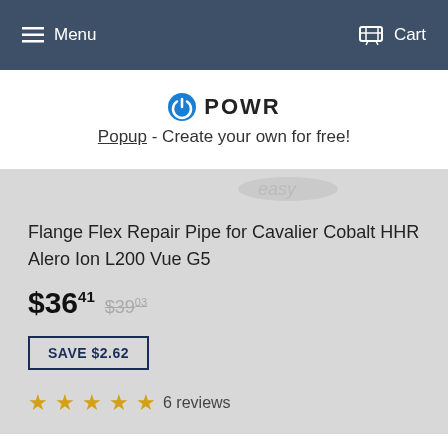Menu   Cart
[Figure (logo): POWR logo with power button icon and text 'POWR'. Below: 'Popup - Create your own for free!']
Flange Flex Repair Pipe for Cavalier Cobalt HHR Alero Ion L200 Vue G5
$36.41  $39.03
SAVE $2.62
6 reviews